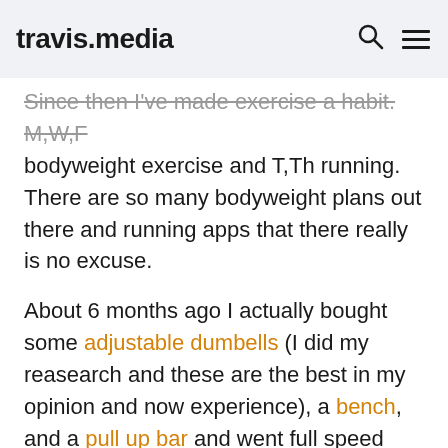travis.media
Since then I've made exercise a habit. M,W,F bodyweight exercise and T,Th running. There are so many bodyweight plans out there and running apps that there really is no excuse.
About 6 months ago I actually bought some adjustable dumbells (I did my reasearch and these are the best in my opinion and now experience), a bench, and a pull up bar and went full speed ahead on an absolutely wonderful program called Bony to Beastly (yeah, cheesy!, but created by nerds like us 🤓). And I feel stronger now than I've ever felt. This